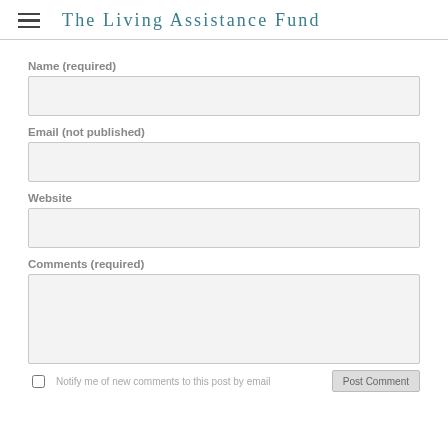The Living Assistance Fund
Name (required)
Email (not published)
Website
Comments (required)
Notify me of new comments to this post by email